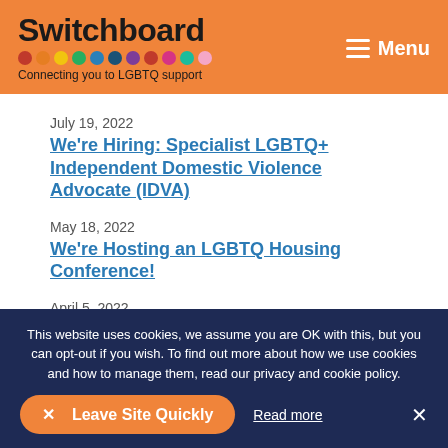Switchboard — Connecting you to LGBTQ support
July 19, 2022
We're Hiring: Specialist LGBTQ+ Independent Domestic Violence Advocate (IDVA)
May 18, 2022
We're Hosting an LGBTQ Housing Conference!
April 5, 2022
Meet Our New Chair of the Board of Trustees: Simon
This website uses cookies, we assume you are OK with this, but you can opt-out if you wish. To find out more about how we use cookies and how to manage them, read our privacy and cookie policy.
✕  Leave Site Quickly
Read more